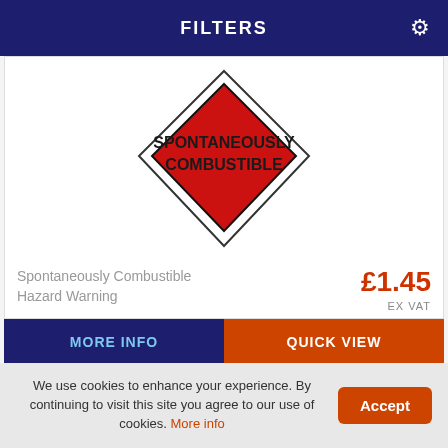FILTERS
[Figure (illustration): Hazard warning diamond label: red/white diamond shape pointing downward with text 'SPONTANEOUSLY COMBUSTIBLE' and number '4' at bottom]
Spontaneously Combustible Hazard Warning
£1.45 EX VAT
MORE INFO
QUICK VIEW
[Figure (illustration): Partial view of another product card showing a chevron/arrow shape outline]
We use cookies to enhance your experience. By continuing to visit this site you agree to our use of cookies. More info